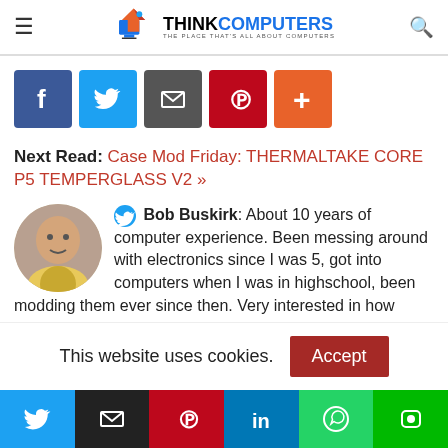ThinkComputers — The Place That's All About Computers
[Figure (infographic): Row of social share buttons: Facebook (blue), Twitter (light blue), Email (grey), Pinterest (red), Plus/More (orange-red)]
Next Read: Case Mod Friday: THERMALTAKE CORE P5 TEMPERGLASS V2 »
Bob Buskirk: About 10 years of computer experience. Been messing around with electronics since I was 5, got into computers when I was in highschool, been modding them ever since then. Very interested in how things work and their design.
This website uses cookies.
[Figure (infographic): Row of social share buttons at bottom: Twitter (blue), Email (black), Pinterest (red), LinkedIn (blue), WhatsApp (green), Line (green)]